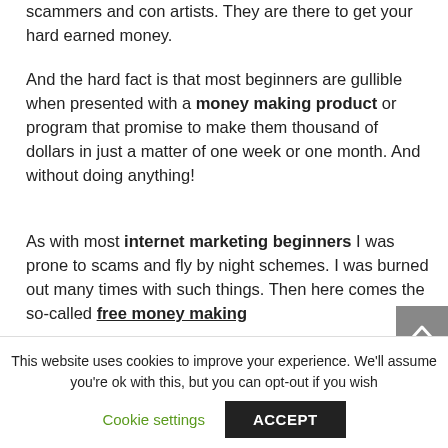scammers and con artists. They are there to get your hard earned money.
And the hard fact is that most beginners are gullible when presented with a money making product or program that promise to make them thousand of dollars in just a matter of one week or one month. And without doing anything!
As with most internet marketing beginners I was prone to scams and fly by night schemes. I was burned out many times with such things. Then here comes the so-called free money making
This website uses cookies to improve your experience. We'll assume you're ok with this, but you can opt-out if you wish
Cookie settings
ACCEPT